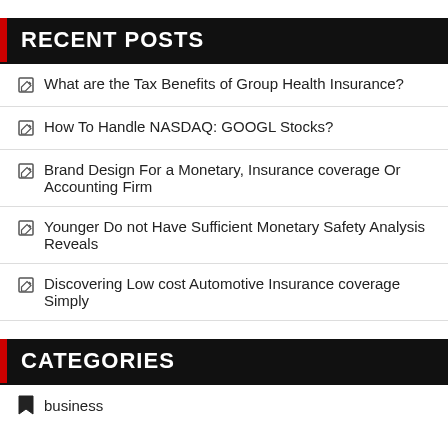RECENT POSTS
What are the Tax Benefits of Group Health Insurance?
How To Handle NASDAQ: GOOGL Stocks?
Brand Design For a Monetary, Insurance coverage Or Accounting Firm
Younger Do not Have Sufficient Monetary Safety Analysis Reveals
Discovering Low cost Automotive Insurance coverage Simply
CATEGORIES
business